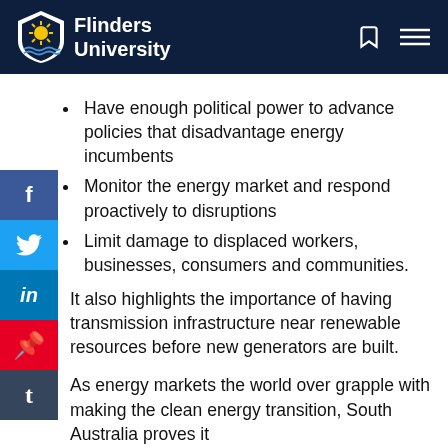Flinders University
Have enough political power to advance policies that disadvantage energy incumbents
Monitor the energy market and respond proactively to disruptions
Limit damage to displaced workers, businesses, consumers and communities.
It also highlights the importance of having transmission infrastructure near renewable resources before new generators are built.
As energy markets the world over grapple with making the clean energy transition, South Australia proves it